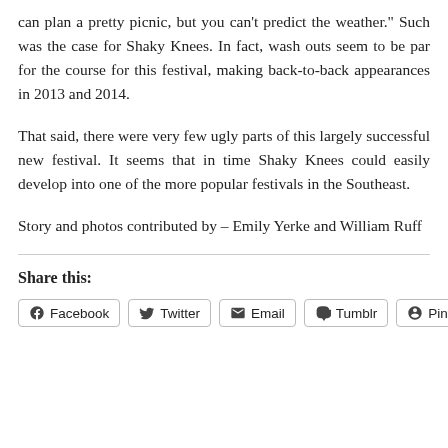can plan a pretty picnic, but you can't predict the weather." Such was the case for Shaky Knees. In fact, wash outs seem to be par for the course for this festival, making back-to-back appearances in 2013 and 2014.
That said, there were very few ugly parts of this largely successful new festival. It seems that in time Shaky Knees could easily develop into one of the more popular festivals in the Southeast.
Story and photos contributed by – Emily Yerke and William Ruff
Share this:
Facebook  Twitter  Email  Tumblr  Pinterest